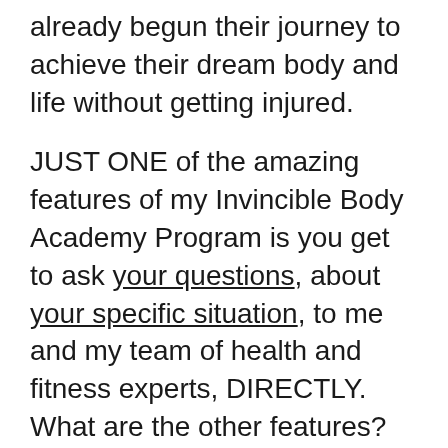already begun their journey to achieve their dream body and life without getting injured.
JUST ONE of the amazing features of my Invincible Body Academy Program is you get to ask your questions, about your specific situation, to me and my team of health and fitness experts, DIRECTLY. What are the other features? Too many to list here! You'll have access to my workout blueprints, my proprietary exercise library, tons of handouts and extra